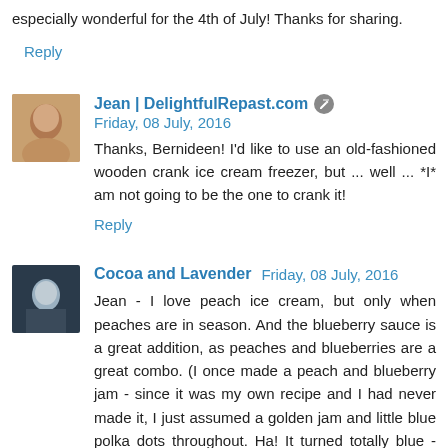especially wonderful for the 4th of July! Thanks for sharing.
Reply
Jean | DelightfulRepast.com  Friday, 08 July, 2016
Thanks, Bernideen! I'd like to use an old-fashioned wooden crank ice cream freezer, but ... well ... *I* am not going to be the one to crank it!
Reply
Cocoa and Lavender  Friday, 08 July, 2016
Jean - I love peach ice cream, but only when peaches are in season. And the blueberry sauce is a great addition, as peaches and blueberries are a great combo. (I once made a peach and blueberry jam - since it was my own recipe and I had never made it, I just assumed a golden jam and little blue polka dots throughout. Ha! It turned totally blue - but very tasty! Thinking of peaches as Southern and blueberries as Northern, I named it the "Jam of Northern Aggression.") It's just about time to go o arch picking here